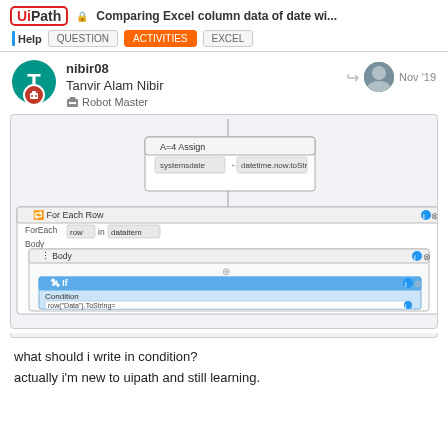UiPath — Comparing Excel column data of date wi...  Help  QUESTION  ACTIVITIES  EXCEL
nibir08
Tanvir Alam Nibir
Robot Master
Nov '19
[Figure (screenshot): UiPath workflow screenshot showing: Assign activity with systemsdate = datetime.now.toStr, followed by a For Each Row loop over dataitem, containing a Body with an If activity. The If condition shows row('Data').ToString= with Then branch containing Message Box showing 'matched' and Else branch containing Message Box showing 'does not match'.]
what should i write in condition?
actually i'm new to uipath and still learning.